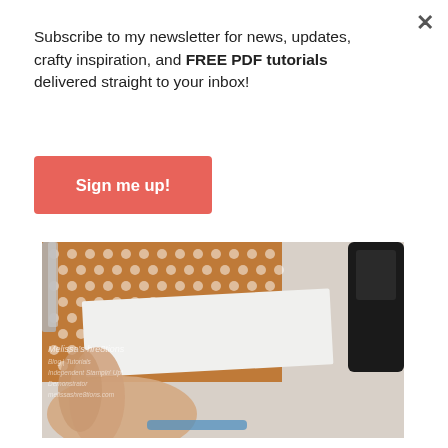Subscribe to my newsletter for news, updates, crafty inspiration, and FREE PDF tutorials delivered straight to your inbox!
[Figure (other): Button labeled 'Sign me up!' with coral/salmon red background and white bold text]
[Figure (photo): Close-up photo of a hand holding white card stock over an orange polka-dot designer series paper, with scissors on the left, a black phone/device on the right, and a blue tape at the bottom. Watermark reads 'Melissa's hre8tions']
I also really love how the Stazon in Jet Black can help to accentuate the colors. I stamped one of the greenery images on Whisper White card stock, then cut it out with the coordinating dies. I placed it on top of the designer series paper, but behind